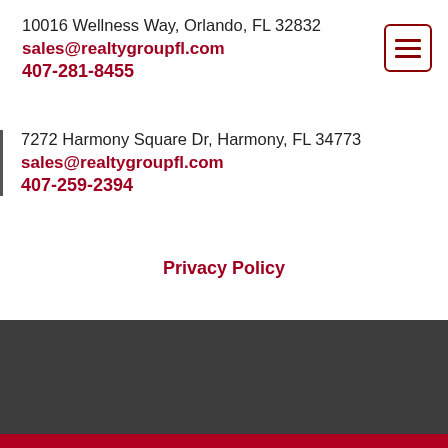10016 Wellness Way, Orlando, FL 32832
sales@realtygroupfl.com
407-281-8455
7272 Harmony Square Dr, Harmony, FL 34773
sales@realtygroupfl.com
407-259-2394
Privacy Policy
Subscribe to Our Newsletter
Email Address